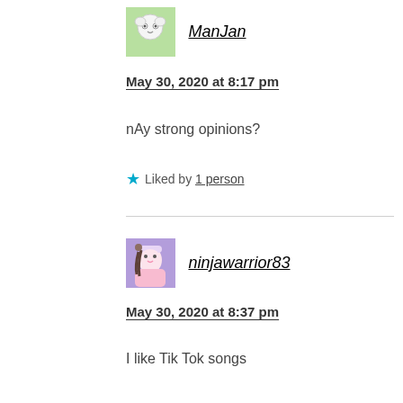[Figure (photo): Avatar image for user ManJan, cartoon sheep character with green background]
ManJan
May 30, 2020 at 8:17 pm
nAy strong opinions?
Liked by 1 person
[Figure (photo): Avatar image for user ninjawarrior83, anime girl with purple background]
ninjawarrior83
May 30, 2020 at 8:37 pm
I like Tik Tok songs